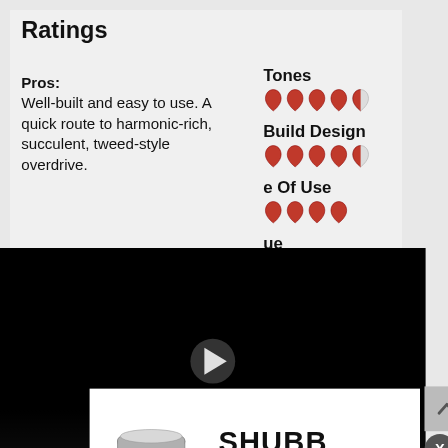Ratings
Pros: Well-built and easy to use. A quick route to harmonic-rich, succulent, tweed-style overdrive.
[Figure (infographic): Rating section showing Tones, Build Design, Ease Of Use, and Value ratings with red guitar pick icons. Tones: 4.5/5, Build Design: 4.5/5, Ease Of Use: 4/5, Value: 3.5/5]
[Figure (screenshot): Black video player thumbnail showing a guitar pedal with play button overlay]
Way Huge Red Llama MkIII Smalls
jimd...
[Figure (photo): Advertisement for Shubb Fine Tune Capos showing a capo product image on the left and the Shubb Fine Tune Capos logo on the right]